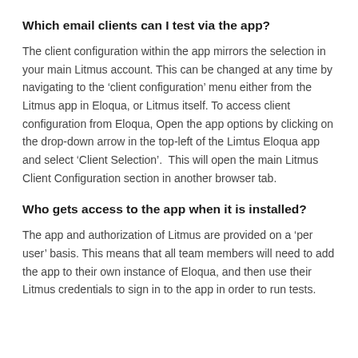Which email clients can I test via the app?
The client configuration within the app mirrors the selection in your main Litmus account. This can be changed at any time by navigating to the ‘client configuration’ menu either from the Litmus app in Eloqua, or Litmus itself. To access client configuration from Eloqua, Open the app options by clicking on the drop-down arrow in the top-left of the Limtus Eloqua app and select ‘Client Selection’.  This will open the main Litmus Client Configuration section in another browser tab.
Who gets access to the app when it is installed?
The app and authorization of Litmus are provided on a ‘per user’ basis. This means that all team members will need to add the app to their own instance of Eloqua, and then use their Litmus credentials to sign in to the app in order to run tests.